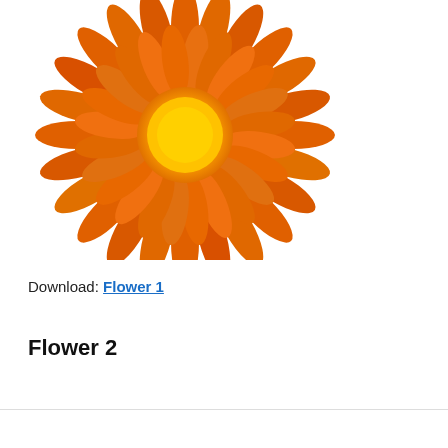[Figure (illustration): Orange daisy/calendula flower illustration with bright orange petals and yellow-orange center, viewed from above, partially cropped at top]
Download: Flower 1
Flower 2